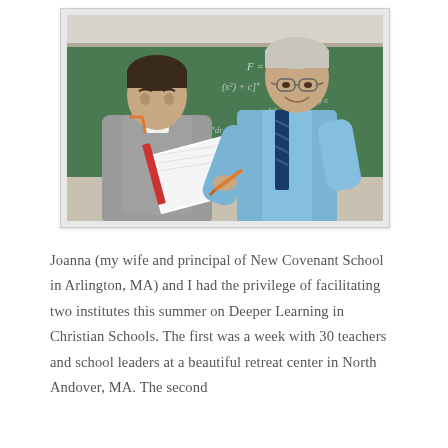[Figure (photo): A young male student seated at a desk examines a notebook or textbook, while an older male teacher in a blue shirt and striped tie leans over pointing at the material with a pen. A green chalkboard with mathematical equations is visible in the background.]
Joanna (my wife and principal of New Covenant School in Arlington, MA) and I had the privilege of facilitating two institutes this summer on Deeper Learning in Christian Schools. The first was a week with 30 teachers and school leaders at a beautiful retreat center in North Andover, MA. The second